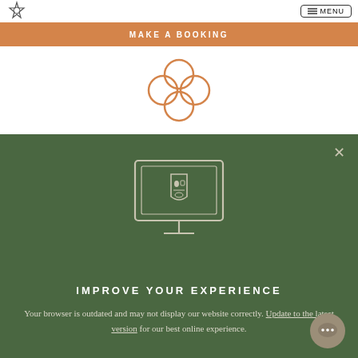[Figure (logo): Small shield/heart logo in top left nav]
MENU
MAKE A BOOKING
[Figure (illustration): Four-petal flower / clover outline icon in orange]
[Figure (illustration): Computer monitor icon displaying a shield/crest logo, white outline on dark green background]
IMPROVE YOUR EXPERIENCE
Your browser is outdated and may not display our website correctly. Update to the latest version for our best online experience.